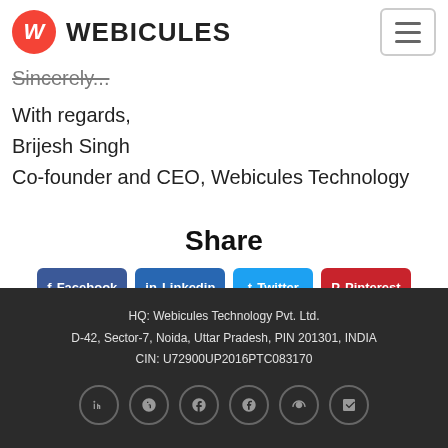W WEBICULES
Sincerely,
With regards,
Brijesh Singh
Co-founder and CEO, Webicules Technology
Share
Facebook  Linkedin  Twitter  Pinterest  WhatsApp
HQ: Webicules Technology Pvt. Ltd.
D-42, Sector-7, Noida, Uttar Pradesh, PIN 201301, INDIA
CIN: U72900UP2016PTC083170